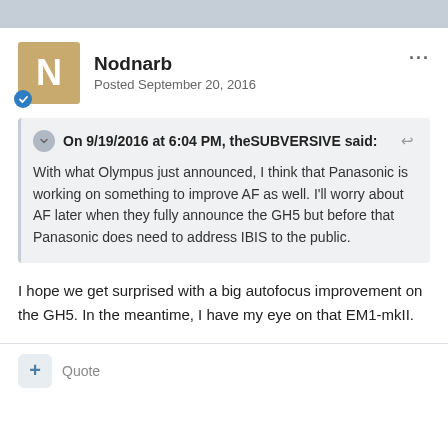Nodnarb
Posted September 20, 2016
On 9/19/2016 at 6:04 PM, theSUBVERSIVE said:
With what Olympus just announced, I think that Panasonic is working on something to improve AF as well. I'll worry about AF later when they fully announce the GH5 but before that Panasonic does need to address IBIS to the public.
I hope we get surprised with a big autofocus improvement on the GH5. In the meantime, I have my eye on that EM1-mkII.
Quote